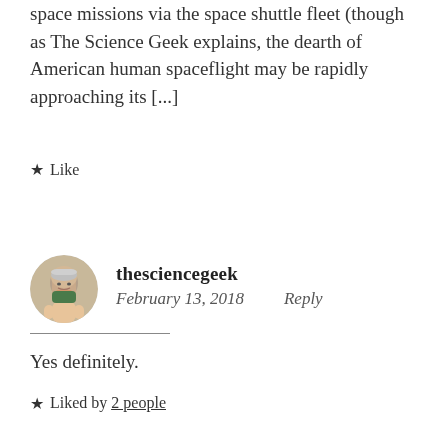space missions via the space shuttle fleet (though as The Science Geek explains, the dearth of American human spaceflight may be rapidly approaching its [...]
★ Like
thesciencegeek
February 13, 2018   Reply
Yes definitely.
★ Liked by 2 people